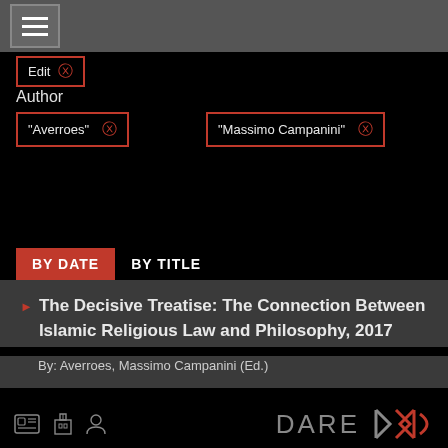Navigation menu (hamburger icon)
Author
"Averroes" ×
"Massimo Campanini" ×
BY DATE | BY TITLE
The Decisive Treatise: The Connection Between Islamic Religious Law and Philosophy, 2017
By: Averroes, Massimo Campanini (Ed.)
PAGE 1 OF 1
DARE logo with icons